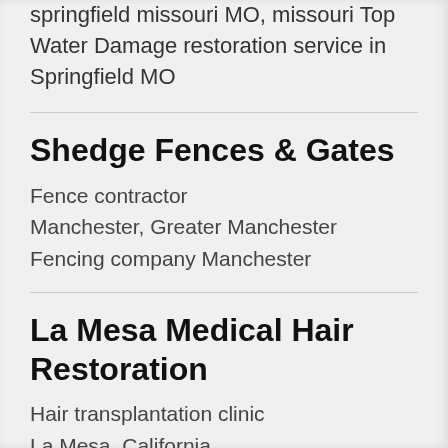springfield missouri MO, missouri Top Water Damage restoration service in Springfield MO
Shedge Fences & Gates
Fence contractor
Manchester, Greater Manchester
Fencing company Manchester
La Mesa Medical Hair Restoration
Hair transplantation clinic
La Mesa, California
Hair Restoration